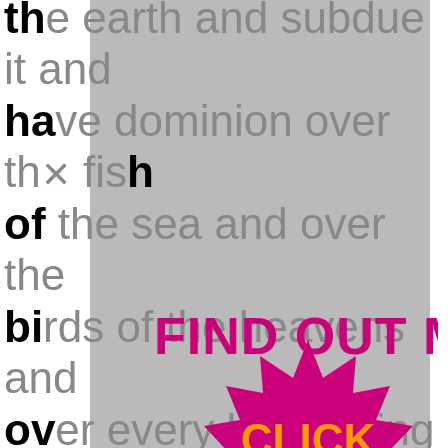the earth and subdue it and have dominion over the fish of the sea and over the birds of the heavens and over every living thing that moves on the earth.
[Figure (infographic): Two overlapping promotional badges/buttons: one rectangular banner reading 'FIND OUT MORE' in bold magenta/pink text, and one gear-shaped starburst badge in magenta with 'CLICK HERE' in bold orange text. These are clickbait overlay graphics on top of the document text.]
Then God said, "let us make man in our image, in our likeness. And let them have dominion over the fish of the sea and over the birds of the heavens and over the livestock and over all the earth and over every creeping thing that creeps on the earth." So God created man in his own image, in the image of God he created him; male and female he created them. Christians generally interpret this as meaning... Sadly, many non-Christians misinterpret our appearance and miss-read us because of our appearance, which is what